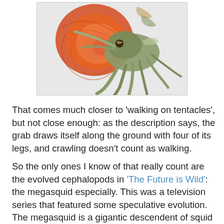[Figure (illustration): Scientific illustration of a cephalopod creature (resembling an ammonite/octopus hybrid) with a large coiled orange-red shell in the background and a green squid-like body with multiple tentacles in the foreground, shown on a light gray background.]
That comes much closer to 'walking on tentacles', but not close enough: as the description says, the grab draws itself along the ground with four of its legs, and crawling doesn't count as walking.
So the only ones I know of that really count are the evolved cephalopods in 'The Future is Wild': the megasquid especially. This was a television series that featured some speculative evolution. The megasquid is a gigantic descendent of squid (probably octopuses, come to think of it), and it walks upright on its eight columnar tentacles. The program does have some comments on how the legs actually work, and those make it clear that the tentacles are